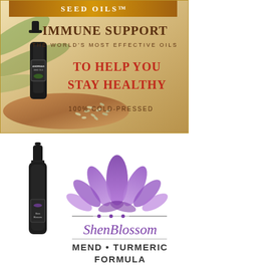[Figure (illustration): Advertisement for Andreas Seed Oils - showing a dark dropper bottle on a wooden board with seeds, palm leaves background. Text reads: SEED OILS, IMMUNE SUPPORT, THE WORLD'S MOST EFFECTIVE OILS, TO HELP YOU STAY HEALTHY, 100% COLD-PRESSED]
[Figure (illustration): Advertisement for Shen Blossom - showing a dark dropper bottle on left with Shen Blossom label, purple lotus flower logo on right, decorative line with dots, script text ShenBlossom, and bold text MEND • TURMERIC FORMULA]